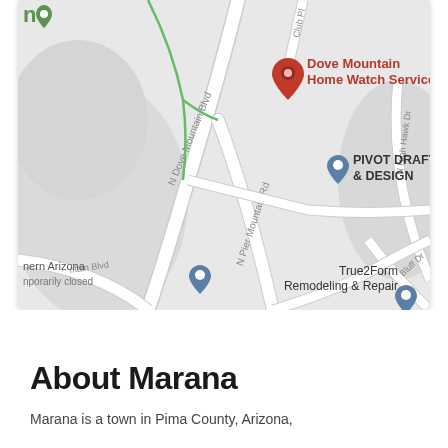[Figure (map): Google Maps screenshot showing Dove Mountain area in Marana, Arizona. Shows N Dove Mountain Blvd, N Pier Mountain Rd, N High Hawk Dr, Club Pl. Markers for: Dove Mountain Home Watch Services (red pin, top center), PIVOT DRAFTING & DESIGN (blue pin, center right), True2Form Remodeling & Repair (blue pin, bottom right), and an unnamed business marked as temporarily closed (blue pin, left). Green lines indicate trails or parks.]
About Marana
Marana is a town in Pima County, Arizona,